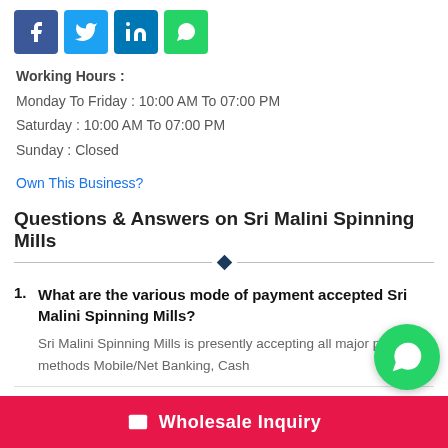[Figure (other): Social media share icons: Facebook (blue), Twitter (light blue), LinkedIn (dark blue), WhatsApp (green)]
Working Hours :
Monday To Friday : 10:00 AM To 07:00 PM
Saturday : 10:00 AM To 07:00 PM
Sunday : Closed
Own This Business?
Questions & Answers on Sri Malini Spinning Mills
1. What are the various mode of payment accepted Sri Malini Spinning Mills?
Sri Malini Spinning Mills is presently accepting all major payment methods Mobile/Net Banking, Cash
Wholesale Inquiry